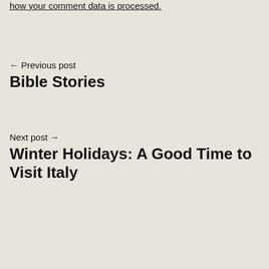how your comment data is processed.
← Previous post
Bible Stories
Next post →
Winter Holidays: A Good Time to Visit Italy